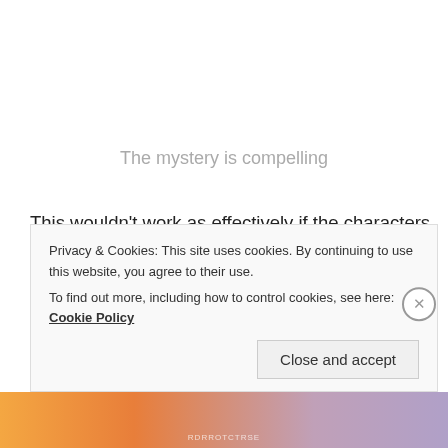The mystery is compelling
This wouldn't work as effectively if the characters were not so great. Stranger Things is stacked with different characters, each making-up their own sub-plot, but you'd struggle to find a story you don't care about. From Natalie Dyer's Nancy and her love triangle between bad boy Joe
Privacy & Cookies: This site uses cookies. By continuing to use this website, you agree to their use.
To find out more, including how to control cookies, see here: Cookie Policy
Close and accept